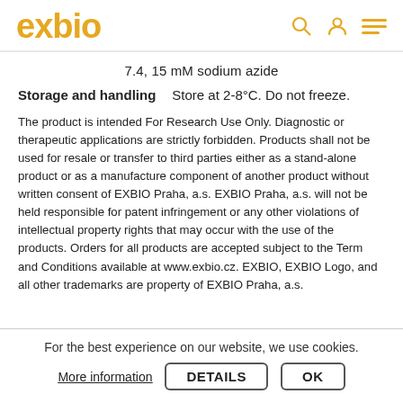exbio
7.4, 15 mM sodium azide
Storage and handling    Store at 2-8°C. Do not freeze.
The product is intended For Research Use Only. Diagnostic or therapeutic applications are strictly forbidden. Products shall not be used for resale or transfer to third parties either as a stand-alone product or as a manufacture component of another product without written consent of EXBIO Praha, a.s. EXBIO Praha, a.s. will not be held responsible for patent infringement or any other violations of intellectual property rights that may occur with the use of the products. Orders for all products are accepted subject to the Term and Conditions available at www.exbio.cz. EXBIO, EXBIO Logo, and all other trademarks are property of EXBIO Praha, a.s.
For the best experience on our website, we use cookies.
More information
DETAILS
OK